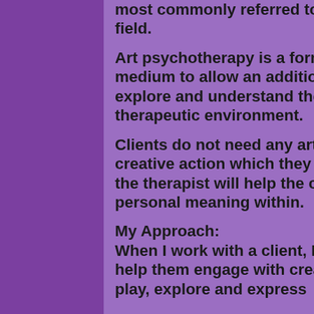most commonly referred to psychoanalytical theorists within the field.
Art psychotherapy is a form of therapy which utilises a creative medium to allow an additional and alternate way for individuals to explore and understand their life experiences in a safe and therapeutic environment.
Clients do not need any artistic skill prior to therapy. Any mark or creative action which they make in the session will be valued and the therapist will help the client try to make sense of and find personal meaning within.
My Approach:
When I work with a client, I offer myself as a resource in order to help them engage with creative media. I encourage the client to play, explore and express